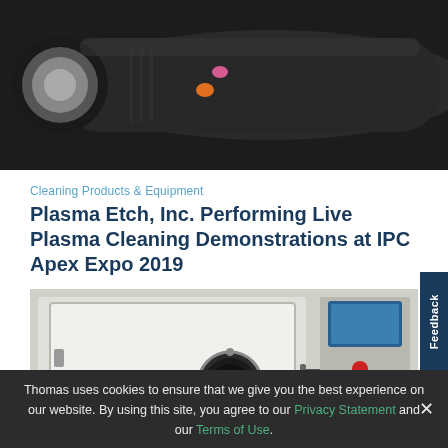[Figure (photo): Close-up photo of a black handheld plasma cleaning device with colored indicator buttons]
Cleaning Products & Equipment
Plasma Etch, Inc. Performing Live Plasma Cleaning Demonstrations at IPC Apex Expo 2019
[Figure (photo): Photo of a large industrial plasma cleaning chamber/machine with white door panel, circular port, handle, and control panel with screen and red/green indicator lights]
Thomas uses cookies to ensure that we give you the best experience on our website. By using this site, you agree to our Privacy Statement and our Terms of Use.